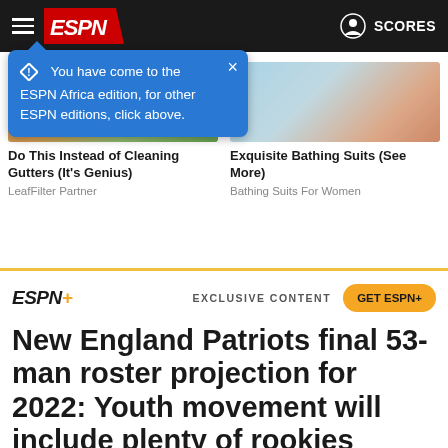ESPN — SCORES
You have come to the ESPN Africa edition, for other ESPN editions, click above.
Do This Instead of Cleaning Gutters (It's Genius)
LeafFilter Partner
Exquisite Bathing Suits (See More)
Bathing Suits For Women
New England Patriots final 53-man roster projection for 2022: Youth movement will include plenty of rookies
EXCLUSIVE CONTENT
GET ESPN+